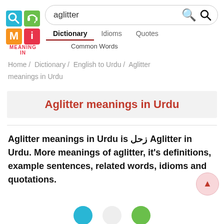[Figure (logo): Meaning In dictionary app logo — 2x2 colored squares (cyan with magnifier, green with headphone, orange with M, red with i pen) and red text MEANING IN below]
aglitter
Dictionary   Idioms   Quotes
Common Words
Home / Dictionary / English to Urdu / Aglitter meanings in Urdu
Aglitter meanings in Urdu
Aglitter meanings in Urdu is زحل Aglitter in Urdu. More meanings of aglitter, it's definitions, example sentences, related words, idioms and quotations.